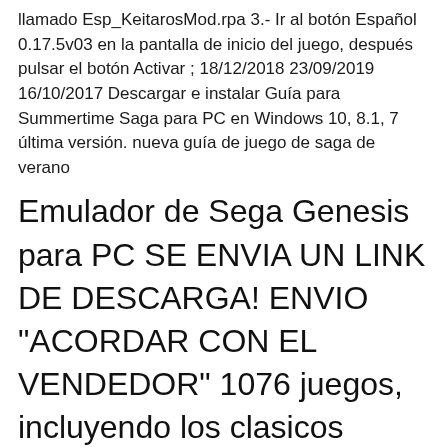llamado Esp_KeitarosMod.rpa 3.- Ir al botón Español 0.17.5v03 en la pantalla de inicio del juego, después pulsar el botón Activar ; 18/12/2018 23/09/2019 16/10/2017 Descargar e instalar Guía para Summertime Saga para PC en Windows 10, 8.1, 7 última versión. nueva guía de juego de saga de verano
Emulador de Sega Genesis para PC SE ENVIA UN LINK DE DESCARGA! ENVIO "ACORDAR CON EL VENDEDOR" 1076 juegos, incluyendo los clasicos como Sonic y Mortal Kombat. Se puede configurar con joysticks usb para jugar como si